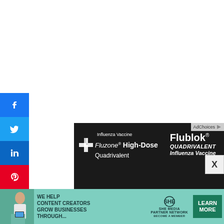[Figure (illustration): Social media share buttons sidebar: Facebook (blue), Twitter (blue), LinkedIn (blue), Pinterest (red), Reddit (orange-red), arranged vertically on the left edge]
[Figure (photo): Dark background pharmaceutical advertisement for Fluzone High-Dose Quadrivalent and Flublok Quadrivalent Influenza Vaccine with AdChoices label. Large cyan text reads 'SEE CLINICAL AND REAL-WORLD']
[Figure (infographic): SHE Media partner network advertisement with teal background: 'We help content creators grow businesses through...' with SHE logo, partner network badge, and green Learn More button]